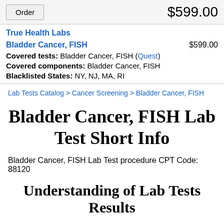Order  $599.00
True Health Labs
Bladder Cancer, FISH  $599.00
Covered tests: Bladder Cancer, FISH (Quest)
Covered components: Bladder Cancer, FISH
Blacklisted States: NY, NJ, MA, RI
Lab Tests Catalog > Cancer Screening > Bladder Cancer, FISH
Bladder Cancer, FISH Lab Test Short Info
Bladder Cancer, FISH Lab Test procedure CPT Code: 88120
Understanding of Lab Tests Results
Please visit the site associated with The American Association for Clinical Chemistry (AACC) for better understanding of tests. There